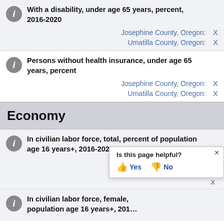With a disability, under age 65 years, percent, 2016-2020 — Josephine County, Oregon: X — Umatilla County, Oregon: X
Persons without health insurance, under age 65 years, percent — Josephine County, Oregon: X — Umatilla County, Oregon: X
Economy
In civilian labor force, total, percent of population age 16 years+, 2016-2020 — Josephine County, Oregon: X — Umatilla County, Oregon: X
In civilian labor force, female, percent of population age 16 years+, 2016-2020